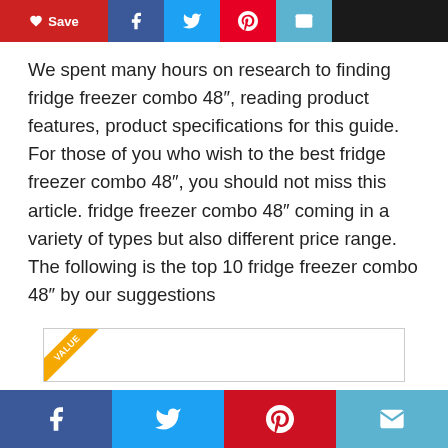[Figure (other): Top social sharing bar with Save button (red), Facebook (blue), Twitter (light blue), Pinterest (red), Email (light blue) buttons]
We spent many hours on research to finding fridge freezer combo 48″, reading product features, product specifications for this guide. For those of you who wish to the best fridge freezer combo 48″, you should not miss this article. fridge freezer combo 48″ coming in a variety of types but also different price range. The following is the top 10 fridge freezer combo 48″ by our suggestions
808 reviews analysed
[Figure (other): Product card box with a yellow VALUE badge in the top-left corner]
[Figure (other): Bottom social sharing bar with Facebook (blue), Twitter (light blue), Pinterest (dark red), Email (light blue) buttons]